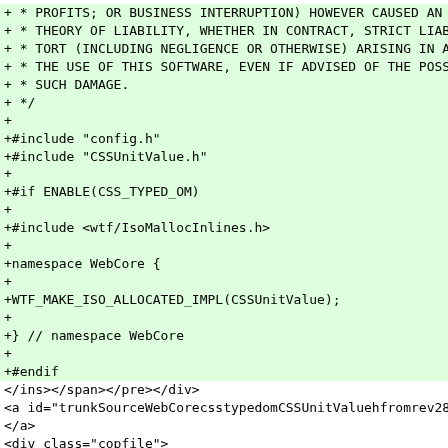Code diff showing additions to CSSUnitValue.h file and HTML markup for trunk/Source/WebCore/css/typedom/CSSUnitValue